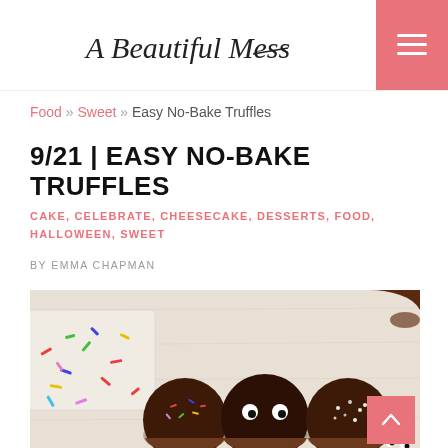A Beautiful Mess
Food » Sweet » Easy No-Bake Truffles
9/21 | EASY NO-BAKE TRUFFLES
CAKE, CELEBRATE, CHEESECAKE, DESSERTS, FOOD, HALLOWEEN, SWEET
BY EMMA CHAPMAN
[Figure (photo): Three chocolate truffles in brown paper cups on a white wood surface. Left truffle has colorful sprinkles, middle truffle has candy eyeballs, right truffle has white/silver sprinkles. Colorful sprinkles scattered on a white plate to the left. Additional chocolate cup holders in upper right. Small candy eyeballs in lower right corner.]